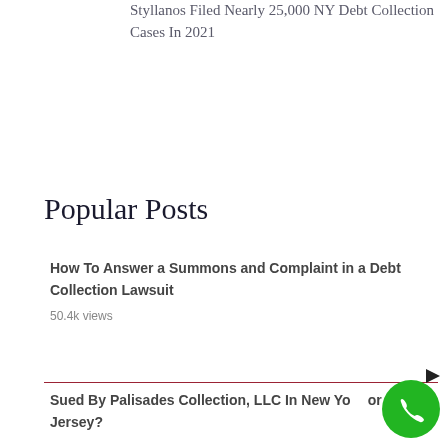Styllanos Filed Nearly 25,000 NY Debt Collection Cases In 2021
Popular Posts
How To Answer a Summons and Complaint in a Debt Collection Lawsuit
50.4k views
Sued By Palisades Collection, LLC In New York or New Jersey?